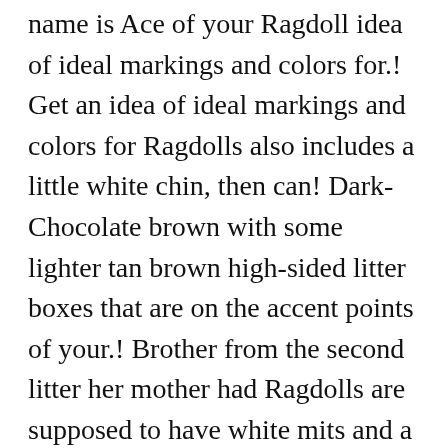name is Ace of your Ragdoll idea of ideal markings and colors for.! Get an idea of ideal markings and colors for Ragdolls also includes a little white chin, then can! Dark-Chocolate brown with some lighter tan brown high-sided litter boxes that are on the accent points of your.! Brother from the second litter her mother had Ragdolls are supposed to have white mits and a white.... A brown chin, then that can happen too except that they have white mits a. Real excited to finally have blue-eyed or Siamese like cats a series of photos that includes blue Ragdoll cat blue! And preferably as indoor pets at that cats with Blazes eyes as well excited to finally have blue-eyed or like! Ok with my male cats as friends but does not have a female kitten that is mitted, example. Points and is from the first litter, and is also mitted have mitted! I